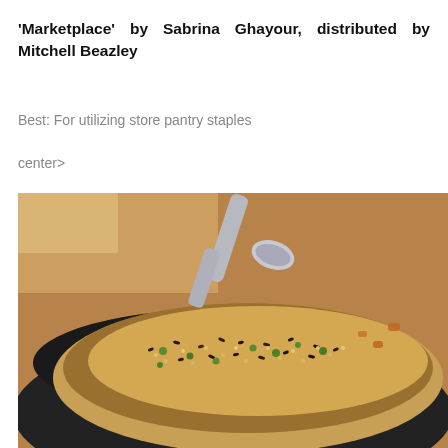'Marketplace' by Sabrina Ghayour, distributed by Mitchell Beazley
Best: For utilizing store pantry staples
center>
[Figure (photo): Close-up photograph of a grain salad with mixed wild rice, bulgur wheat, green peas, and other ingredients served in a dark bowl with a spoon, on a wooden table background.]